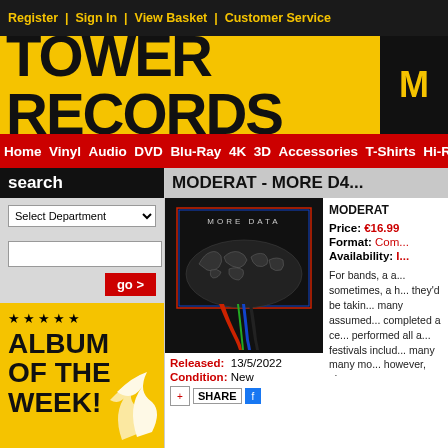Register  |  Sign In  |  View Basket  |  Customer Service
TOWER RECORDS
Home  Vinyl  Audio  DVD  Blu-Ray  4K  3D  Accessories  T-Shirts  Hi-R...
search
Select Department
[Figure (illustration): Album of the Week badge on yellow background with flame graphic and stars]
MODERAT - MORE D4...
[Figure (photo): Album cover for Moderat - More Data showing a globe/world map funnel graphic on black background with text 'MORE DATA']
Released: 13/5/2022
Condition: New
MODERAT
Price: €16.99
Format: Com...
Availability: I...
For bands, a a... sometimes, a h... they'd be takin... many assumed... completed a ce... performed all a... festivals includ... many many mo... however, alway...